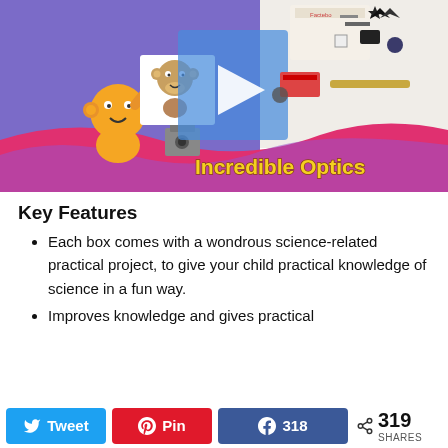[Figure (screenshot): Incredible Optics educational science kit product image. Left side shows a purple/pink background with an orange cartoon character and a cartoon monkey, plus a camera box. Center has a video play button overlay. Right side shows a Factebo-branded kit box and various science kit components including lenses and optical instruments. Yellow text reads 'Incredible Optics' on a pink wave background.]
Key Features
Each box comes with a wondrous science-related practical project, to give your child practical knowledge of science in a fun way.
Improves knowledge and gives practical
Tweet  Pin  Share 318  < 319 SHARES